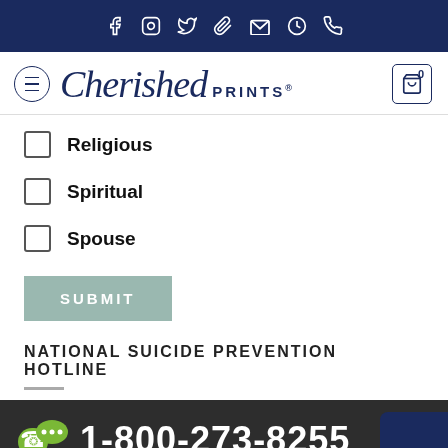Cherished Prints navigation bar with social icons
[Figure (logo): Cherished Prints logo with hamburger menu and cart icon showing 0 items]
Religious (checkbox)
Spiritual (checkbox)
Spouse (checkbox)
SUBMIT
NATIONAL SUICIDE PREVENTION HOTLINE
[Figure (infographic): National Suicide Prevention Hotline banner showing phone number 1-800-273-8255 with phone and chat icons on dark background]